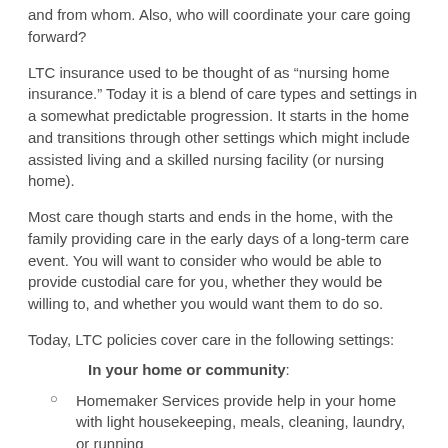and from whom. Also, who will coordinate your care going forward?
LTC insurance used to be thought of as “nursing home insurance.” Today it is a blend of care types and settings in a somewhat predictable progression. It starts in the home and transitions through other settings which might include assisted living and a skilled nursing facility (or nursing home).
Most care though starts and ends in the home, with the family providing care in the early days of a long-term care event. You will want to consider who would be able to provide custodial care for you, whether they would be willing to, and whether you would want them to do so.
Today, LTC policies cover care in the following settings:
In your home or community:
Homemaker Services provide help in your home with light housekeeping, meals, cleaning, laundry, or running